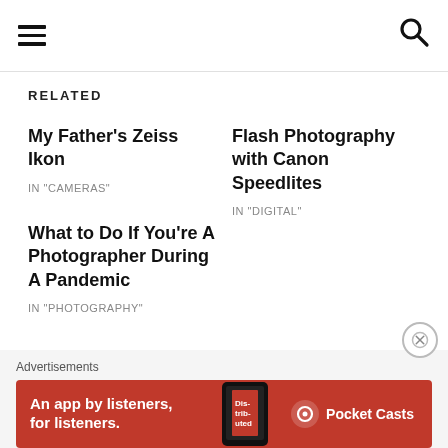[hamburger menu icon] [search icon]
RELATED
My Father's Zeiss Ikon
IN "CAMERAS"
Flash Photography with Canon Speedlites
IN "DIGITAL"
What to Do If You're A Photographer During A Pandemic
IN "PHOTOGRAPHY"
Advertisements
[Figure (screenshot): Red banner advertisement for Pocket Casts app: 'An app by listeners, for listeners.' with Pocket Casts logo and a phone image showing 'Distributed' text.]